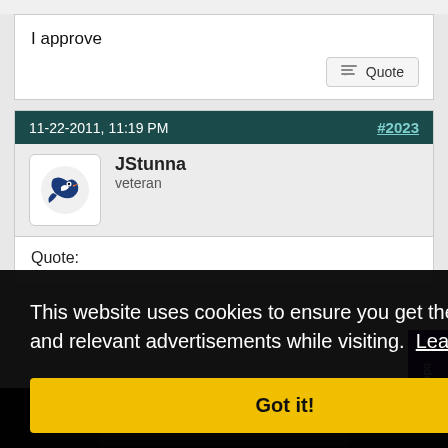I approve
Quote
11-22-2011, 11:19 PM
#2023
JStunna
veteran
Quote:
This website uses cookies to ensure you get the best experience and relevant advertisements while visiting. Learn more
Got it!